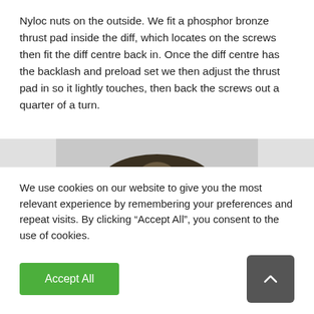Nyloc nuts on the outside. We fit a phosphor bronze thrust pad inside the diff, which locates on the screws then fit the diff centre back in. Once the diff centre has the backlash and preload set we then adjust the thrust pad in so it lightly touches, then back the screws out a quarter of a turn.
[Figure (photo): Close-up photograph of a differential component showing a dark metal casting with screws, bearing surfaces, and two prominent blue-ringed fasteners at the bottom center.]
We use cookies on our website to give you the most relevant experience by remembering your preferences and repeat visits. By clicking “Accept All”, you consent to the use of cookies.